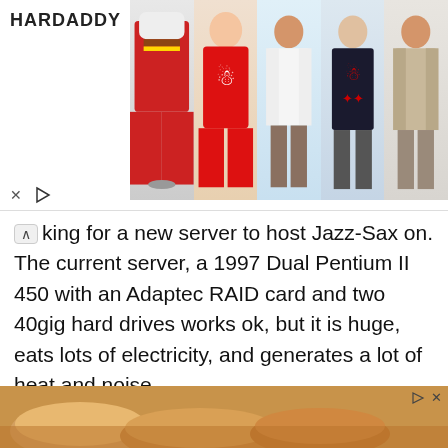[Figure (screenshot): HARDADDY clothing advertisement banner showing men in various shirts and hoodies including Christmas-themed outfits]
king for a new server to host Jazz-Sax on. The current server, a 1997 Dual Pentium II 450 with an Adaptec RAID card and two 40gig hard drives works ok, but it is huge, eats lots of electricity, and generates a lot of heat and noise.
What I'm looking for is perhaps someone who wants to donate a G4 Mac Mini, or perhaps an older Shuttle Mini PC or something. Something smaller, that eats less energy, generates less heat, and is relatively quite.
Actually, I'd pay a little for a Mac Mini......I'd love to get something small and stick a SSD in there.....
[Figure (photo): Bottom advertisement showing food items (bread/buns) on a surface]